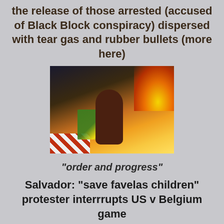the release of those arrested (accused of Black Block conspiracy) dispersed with tear gas and rubber bullets (more here)
[Figure (photo): Person wrapped in Brazilian flag running in front of fire and barriers at a protest]
“order and progress”
Salvador: “save favelas children” protester interrrupts US v Belgium game
30/6/14:
Rio: 3 buses and car torched in protest; cops roll out standard claim that it was